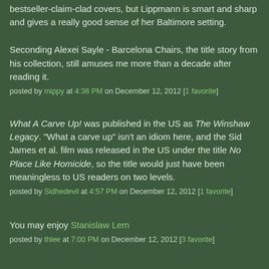bestseller-claim-clad covers, but Lippmann is smart and sharp and gives a really good sense of her Baltimore setting.
Seconding Alexei Sayle - Barcelona Chairs, the title story from his collection, still amuses me more than a decade after reading it.
posted by mippy at 4:38 PM on December 12, 2012 [1 favorite]
What A Carve Up! was published in the US as The Winshaw Legacy. "What a carve up" isn't an idiom here, and the Sid James et al. film was released in the US under the title No Place Like Homicide, so the title would just have been meaningless to US readers on two levels.
posted by Sidhedevil at 4:57 PM on December 12, 2012 [1 favorite]
You may enjoy Stanislaw Lem
posted by... at 7:00 PM on December 12, 2012 [3 favorite]